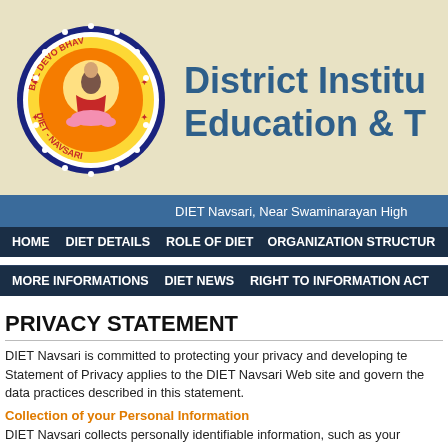[Figure (logo): DIET Navsari circular logo with 'BAL DEVO BHAV' text and 'DIET-NAVSARI' text in a decorative circular seal with orange, yellow and blue colors]
District Institute of Education & T
DIET Navsari, Near Swaminarayan High
HOME    DIET DETAILS    ROLE OF DIET    ORGANIZATION STRUCTU    MORE INFORMATIONS    DIET NEWS    RIGHT TO INFORMATION ACT
PRIVACY STATEMENT
DIET Navsari is committed to protecting your privacy and developing te Statement of Privacy applies to the DIET Navsari Web site and govern the data practices described in this statement.
Collection of your Personal Information
DIET Navsari collects personally identifiable information, such as your Navsari also collects anonymous demographic information, which is no favorites.